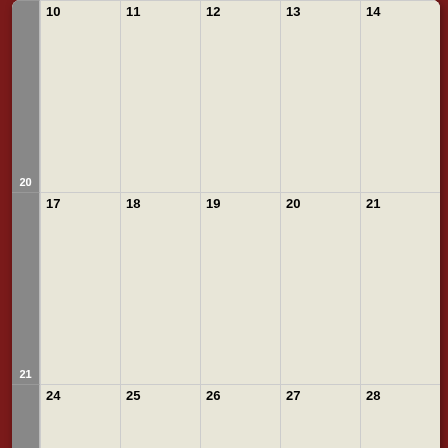[Figure (other): Monthly calendar grid showing weeks 20-23. Week 20: days 10-14. Week 21: days 17-21. Week 22: days 24-28. Week 23: day 31 (current month) and days 1-4 (next month, shown in gray). Week numbers shown in left column.]
ON   Oshawa   All Categories ...